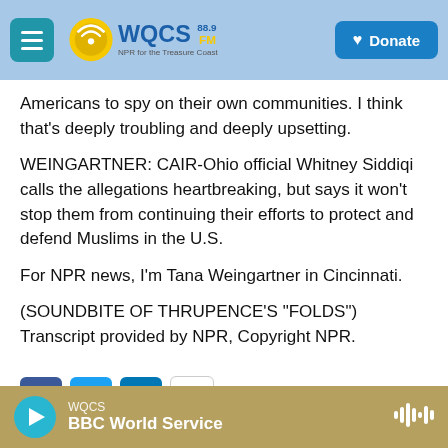WQCS 88.9 FM — NPR for the Treasure Coast | Donate
Americans to spy on their own communities. I think that's deeply troubling and deeply upsetting.
WEINGARTNER: CAIR-Ohio official Whitney Siddiqi calls the allegations heartbreaking, but says it won't stop them from continuing their efforts to protect and defend Muslims in the U.S.
For NPR news, I'm Tana Weingartner in Cincinnati.
(SOUNDBITE OF THRUPENCE'S "FOLDS") Transcript provided by NPR, Copyright NPR.
WQCS — BBC World Service